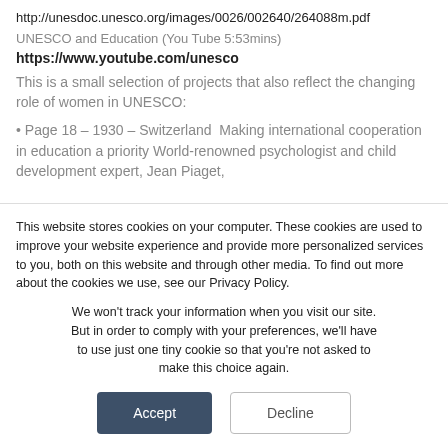http://unesdoc.unesco.org/images/0026/002640/264088m.pdf
UNESCO and Education (You Tube 5:53mins)
https://www.youtube.com/unesco
This is a small selection of projects that also reflect the changing role of women in UNESCO:
• Page 18 – 1930 – Switzerland  Making international cooperation in education a priority World-renowned psychologist and child development expert, Jean Piaget,
This website stores cookies on your computer. These cookies are used to improve your website experience and provide more personalized services to you, both on this website and through other media. To find out more about the cookies we use, see our Privacy Policy.
We won't track your information when you visit our site. But in order to comply with your preferences, we'll have to use just one tiny cookie so that you're not asked to make this choice again.